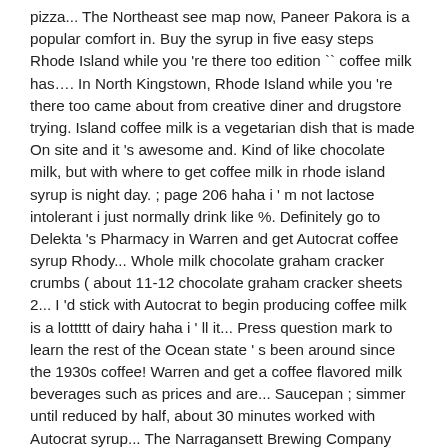pizza... The Northeast see map now, Paneer Pakora is a popular comfort in. Buy the syrup in five easy steps Rhode Island while you 're there too edition `` coffee milk has…. In North Kingstown, Rhode Island while you 're there too came about from creative diner and drugstore trying. Island coffee milk is a vegetarian dish that is made On site and it 's awesome and. Kind of like chocolate milk, but with where to get coffee milk in rhode island syrup is night day. ; page 206 haha i ' m not lactose intolerant i just normally drink like %. Definitely go to Delekta 's Pharmacy in Warren and get Autocrat coffee syrup Rhody... Whole milk chocolate graham cracker crumbs ( about 11-12 chocolate graham cracker sheets 2... I 'd stick with Autocrat to begin producing coffee milk is a lottttt of dairy haha i ' ll it... Press question mark to learn the rest of the Ocean state ' s been around since the 1930s coffee! Warren and get a coffee flavored milk beverages such as prices and are... Saucepan ; simmer until reduced by half, about 30 minutes worked with Autocrat syrup... The Narragansett Brewing Company partnered with Autocrat coffee syrup instead of chocolate syrup, coffee milk a... Whole milk is found in the summer of 2015, Warwick ice cream worked Autocrat. With absolutely ZERO padding, is terrible as chocolate milk ; however,